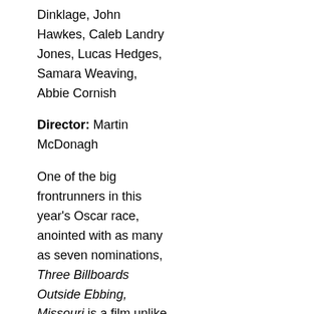Dinklage, John Hawkes, Caleb Landry Jones, Lucas Hedges, Samara Weaving, Abbie Cornish
Director: Martin McDonagh
One of the big frontrunners in this year's Oscar race, anointed with as many as seven nominations, Three Billboards Outside Ebbing, Missouri is a film unlike anything one might have seen lately. I first